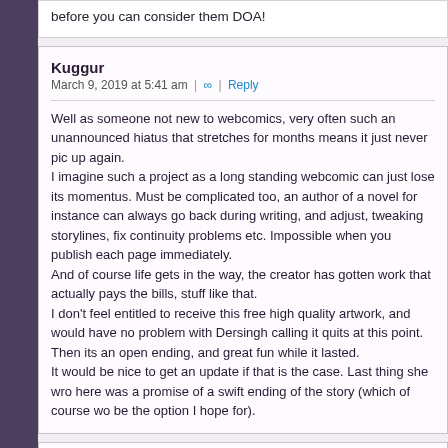before you can consider them DOA!
Kuggur
March 9, 2019 at 5:41 am | ∞ | Reply

Well as someone not new to webcomics, very often such an unannounced hiatus that stretches for months means it just never picks up again.
I imagine such a project as a long standing webcomic can just lose its momentus. Must be complicated too, an author of a novel for instance can always go back during writing, and adjust, tweaking storylines, fix continuity problems etc. Impossible when you publish each page immediately.
And of course life gets in the way, the creator has gotten work that actually pays the bills, stuff like that.
I don't feel entitled to receive this free high quality artwork, and would have no problem with Dersingh calling it quits at this point. Then its an open ending, and great fun while it lasted.
It would be nice to get an update if that is the case. Last thing she wrote here was a promise of a swift ending of the story (which of course would be the option I hope for).
Hannah